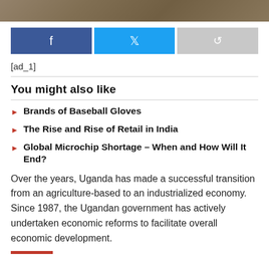[Figure (photo): Partial photo showing people at a desk with papers and a smartphone, cropped at top]
[Figure (infographic): Social sharing buttons: Facebook (blue), Twitter (light blue), Share (grey)]
[ad_1]
You might also like
Brands of Baseball Gloves
The Rise and Rise of Retail in India
Global Microchip Shortage – When and How Will It End?
Over the years, Uganda has made a successful transition from an agriculture-based to an industrialized economy. Since 1987, the Ugandan government has actively undertaken economic reforms to facilitate overall economic development.